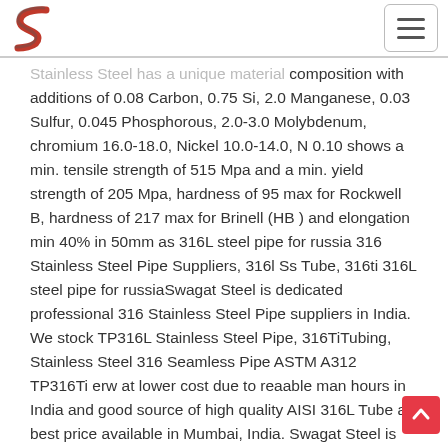Swagat Steel - Stainless Steel Pipe Suppliers
Stainless Steel has a unique material composition with additions of 0.08 Carbon, 0.75 Si, 2.0 Manganese, 0.03 Sulfur, 0.045 Phosphorous, 2.0-3.0 Molybdenum, chromium 16.0-18.0, Nickel 10.0-14.0, N 0.10 shows a min. tensile strength of 515 Mpa and a min. yield strength of 205 Mpa, hardness of 95 max for Rockwell B, hardness of 217 max for Brinell (HB ) and elongation min 40% in 50mm as 316L steel pipe for russia 316 Stainless Steel Pipe Suppliers, 316l Ss Tube, 316ti 316L steel pipe for russiaSwagat Steel is dedicated professional 316 Stainless Steel Pipe suppliers in India. We stock TP316L Stainless Steel Pipe, 316TiTubing, Stainless Steel 316 Seamless Pipe ASTM A312 TP316Ti erw at lower cost due to reaable man hours in India and good source of high quality AISI 316L Tube at best price available in Mumbai, India. Swagat Steel is Franchisors of Stainless Steel 316 Seamless 316L steel pipe for russia 316 Tubing 316L Tubes - Stainless Steel Pipe316 Stainless Steel